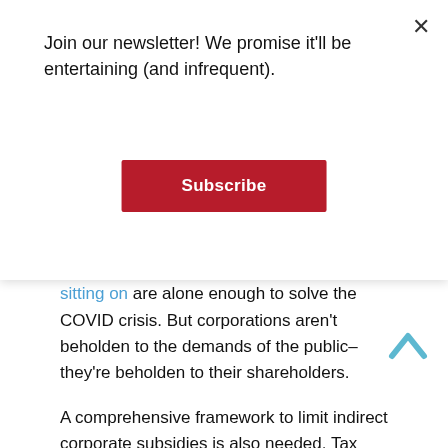Join our newsletter! We promise it'll be entertaining (and infrequent).
Subscribe
Amazon, for example, makes more than a quarter of a trillion dollars in revenue per year, including about 14 billion in operating income. But pays no taxes. There's something bizarre and broken about this.
Other provisions would need to require that corporations repatriate trillions of dollars of cash held abroad. The Trump tax cuts were supposed to effect this. They did not. The mountains of cash that corporations are sitting on are alone enough to solve the COVID crisis. But corporations aren't beholden to the demands of the public– they're beholden to their shareholders.
A comprehensive framework to limit indirect corporate subsidies is also needed. Tax increment financing, tax breaks,